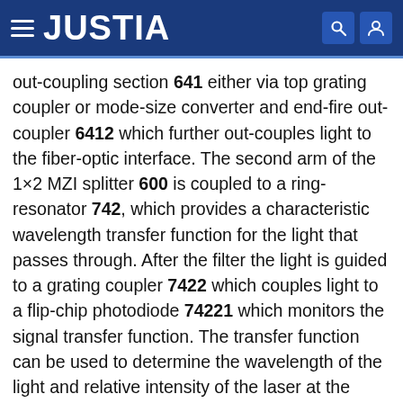JUSTIA
out-coupling section 641 either via top grating coupler or mode-size converter and end-fire out-coupler 6412 which further out-couples light to the fiber-optic interface. The second arm of the 1×2 MZI splitter 600 is coupled to a ring-resonator 742, which provides a characteristic wavelength transfer function for the light that passes through. After the filter the light is guided to a grating coupler 7422 which couples light to a flip-chip photodiode 74221 which monitors the signal transfer function. The transfer function can be used to determine the wavelength of the light and relative intensity of the laser at the same time, with only one control photodiode, rather than multiple photodiodes as, for example, illustrated in FIG. 6.
In the described embodiments, a hybrid integration of III-V semiconductor chip and group-IV semiconductor